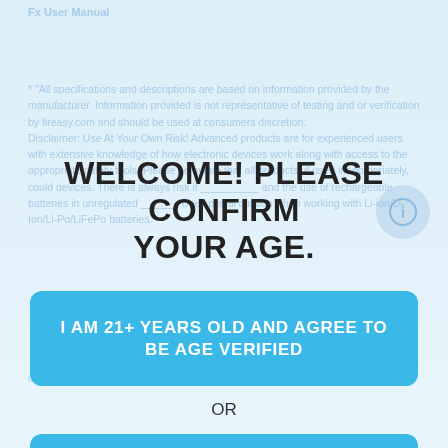Fx User Manual
* "All specifications and descriptions are based on information provided by the manufacturer. Information provided is not representative of testing and or verification by fireasy.com and should be used at consumers discretion.
Disclaimer: Use At Your Own Risk! Advanced products are for experienced users with extensive knowledge of how electronic devices work along with access to the appropriate safety tools. Please be aware that all products, if used inappropriately, could devices. There is always risk if __________ and the use of rechargeable batteries in unregulated ______. Use special caution when working with Li-ion/Li-Ion/Li-Po/LiFePo batteries.
WELCOME! PLEASE CONFIRM YOUR AGE.
I AM 21+ YEARS OLD AND AGREE TO BE AGE VERIFIED
OR
EXIT
defect, permanent or temporary, may be caused by in-